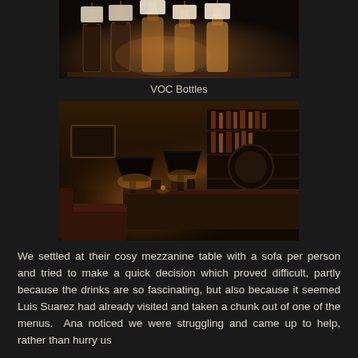[Figure (photo): Dark photo of several bottles with tag labels sitting on a shelf, backlit with warm amber glow]
VOC Bottles
[Figure (photo): Dark interior of a moody bar with warm lamp lighting, a bar counter with bottles on shelves, and lounge seating visible]
We settled at their cosy mezzanine table with a sofa per person and tried to make a quick decision which proved difficult, partly because the drinks are so fascinating, but also because it seemed Luis Suarez had already visited and taken a chunk out of one of the menus.  Ana noticed we were struggling and came up to help, rather than hurry us